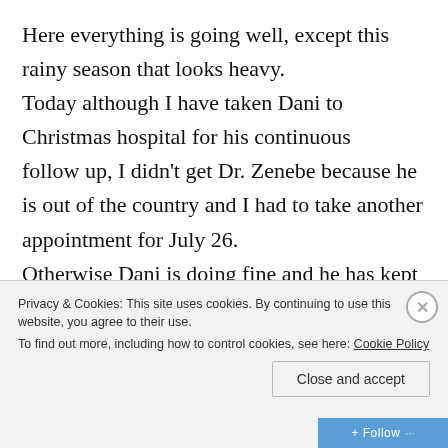Here everything is going well, except this rainy season that looks heavy. Today although I have taken Dani to Christmas hospital for his continuous follow up, I didn't get Dr. Zenebe because he is out of the country and I had to take another appointment for July 26. Otherwise Dani is doing fine and he has kept practicing his exercises regularly.
Privacy & Cookies: This site uses cookies. By continuing to use this website, you agree to their use. To find out more, including how to control cookies, see here: Cookie Policy
Close and accept